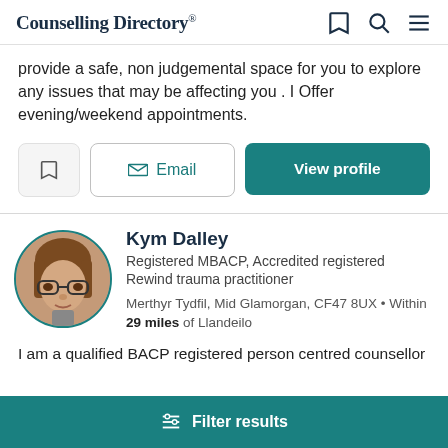Counselling Directory
provide a safe, non judgemental space for you to explore any issues that may be affecting you . I Offer evening/weekend appointments.
Bookmark | Email | View profile
Kym Dalley
Registered MBACP, Accredited registered Rewind trauma practitioner
Merthyr Tydfil, Mid Glamorgan, CF47 8UX • Within 29 miles of Llandeilo
I am a qualified BACP registered person centred counsellor
Filter results